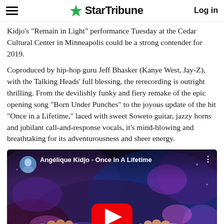StarTribune | Log in
Kidjo’s “Remain in Light” performance Tuesday at the Cedar Cultural Center in Minneapolis could be a strong contender for 2019.
Coproduced by hip-hop guru Jeff Bhasker (Kanye West, Jay-Z), with the Talking Heads’ full blessing, the rerecording is outright thrilling. From the devilishly funky and fiery remake of the epic opening song “Born Under Punches” to the joyous update of the hit “Once in a Lifetime,” laced with sweet Soweto guitar, jazzy horns and jubilant call-and-response vocals, it’s mind-blowing and breathtaking for its adventurousness and sheer energy.
[Figure (screenshot): YouTube embedded video thumbnail for 'Angélique Kidjo - Once In A Lifetime' showing colorful artwork with hands and a YouTube play button overlay.]